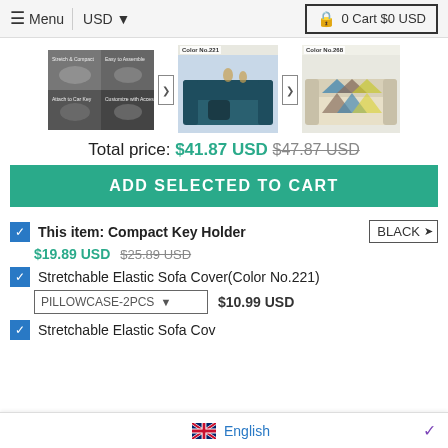≡ Menu | USD ▼   0 Cart $0 USD
[Figure (photo): Three product images: compact key holder assembly photos, sofa with Color No.221, sofa with Color No.268]
Total price: $41.87 USD $47.87 USD
ADD SELECTED TO CART
This item: Compact Key Holder [BLACK ▾] $19.89 USD $25.89 USD
Stretchable Elastic Sofa Cover(Color No.221) [PILLOWCASE-2PCS ▾] $10.99 USD
Stretchable Elastic Sofa Cov...
English ∨